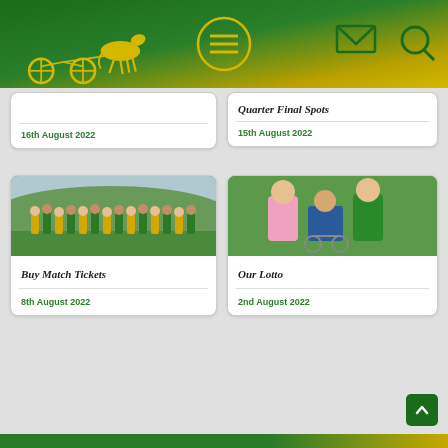[Figure (screenshot): Website header with green-to-yellow gradient background, horse and sulky logo on left, hamburger menu icon in circle center, envelope icon and search icon on right]
Quarter Final Spots
15th August 2022
16th August 2022
[Figure (photo): Group photo of youth GAA team in green and yellow jerseys on a sports field]
Buy Match Tickets
8th August 2022
[Figure (photo): Three people standing on a green sports field, one person in a wheelchair wearing a green jacket]
Our Lotto
2nd August 2022